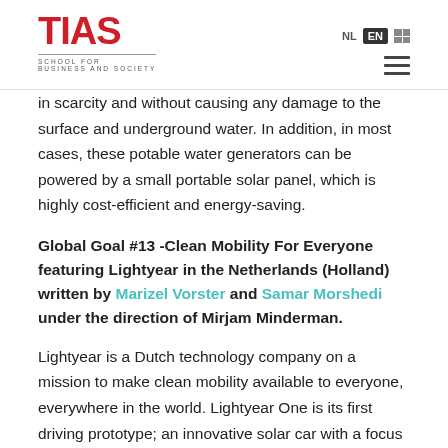TIAS SCHOOL FOR BUSINESS AND SOCIETY — NL EN
in scarcity and without causing any damage to the surface and underground water. In addition, in most cases, these potable water generators can be powered by a small portable solar panel, which is highly cost-efficient and energy-saving.
Global Goal #13 -Clean Mobility For Everyone featuring Lightyear in the Netherlands (Holland) written by Marizel Vorster and Samar Morshedi under the direction of Mirjam Minderman.
Lightyear is a Dutch technology company on a mission to make clean mobility available to everyone, everywhere in the world. Lightyear One is its first driving prototype; an innovative solar car with a focus